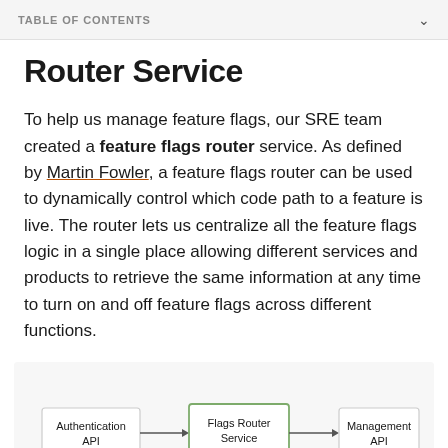TABLE OF CONTENTS
Router Service
To help us manage feature flags, our SRE team created a feature flags router service. As defined by Martin Fowler, a feature flags router can be used to dynamically control which code path to a feature is live. The router lets us centralize all the feature flags logic in a single place allowing different services and products to retrieve the same information at any time to turn on and off feature flags across different functions.
[Figure (flowchart): Architecture diagram showing Authentication API connected to Flags Router Service (center, highlighted with green border) connected to Management API, with a vertical line going down from Flags Router Service.]